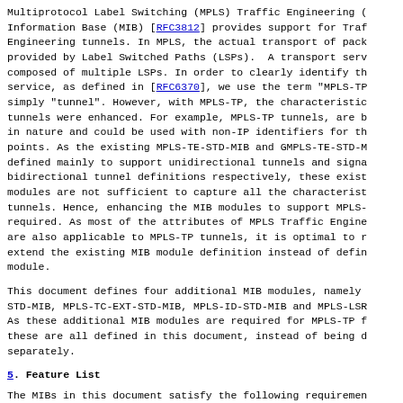Multiprotocol Label Switching (MPLS) Traffic Engineering (TE) Management Information Base (MIB) [RFC3812] provides support for Traffic Engineering tunnels. In MPLS, the actual transport of packets is provided by Label Switched Paths (LSPs). A transport service can be composed of multiple LSPs. In order to clearly identify the transport service, as defined in [RFC6370], we use the term "MPLS-TP tunnel" or simply "tunnel". However, with MPLS-TP, the characteristics of the tunnels were enhanced. For example, MPLS-TP tunnels, are bidirectional in nature and could be used with non-IP identifiers for the tunnel end points. As the existing MPLS-TE-STD-MIB and GMPLS-TE-STD-MIB were defined mainly to support unidirectional tunnels and signaled bidirectional tunnel definitions respectively, these existing MIB modules are not sufficient to capture all the characteristics of MPLS-TP tunnels. Hence, enhancing the MIB modules to support MPLS-TP tunnels is required. As most of the attributes of MPLS Traffic Engineering tunnels are also applicable to MPLS-TP tunnels, it is optimal to reuse and extend the existing MIB module definition instead of defining a new module.
This document defines four additional MIB modules, namely MPLS-TE-EXT-STD-MIB, MPLS-TC-EXT-STD-MIB, MPLS-ID-STD-MIB and MPLS-LSR-EXT-STD-MIB. As these additional MIB modules are required for MPLS-TP functionality, these are all defined in this document, instead of being defined separately.
5. Feature List
The MIBs in this document satisfy the following requirements and constraints: